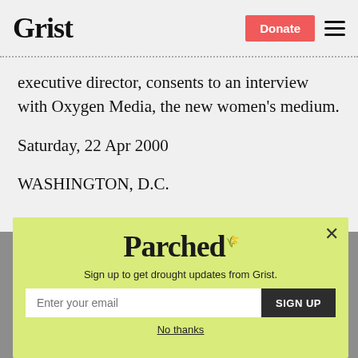Grist | Donate
executive director, consents to an interview with Oxygen Media, the new women's medium.
Saturday, 22 Apr 2000
WASHINGTON, D.C.
[Figure (screenshot): Parchea newsletter signup modal overlay with yellow-green background, email input field, SIGN UP button, and No thanks link]
Sign up to get drought updates from Grist.
No thanks